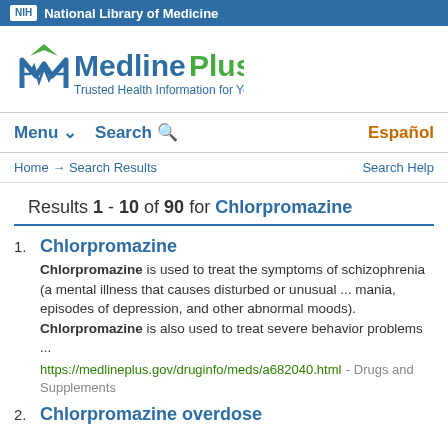NIH National Library of Medicine
[Figure (logo): MedlinePlus logo with tagline: Trusted Health Information for You]
Menu  Search  Español
Home → Search Results   Search Help
Results 1 - 10 of 90 for Chlorpromazine
1. Chlorpromazine — Chlorpromazine is used to treat the symptoms of schizophrenia (a mental illness that causes disturbed or unusual ... mania, episodes of depression, and other abnormal moods). Chlorpromazine is also used to treat severe behavior problems ... https://medlineplus.gov/druginfo/meds/a682040.html - Drugs and Supplements
2. Chlorpromazine overdose